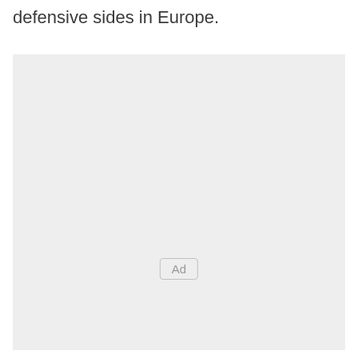defensive sides in Europe.
[Figure (other): Advertisement placeholder box with light gray background and 'Ad' label centered near the bottom.]